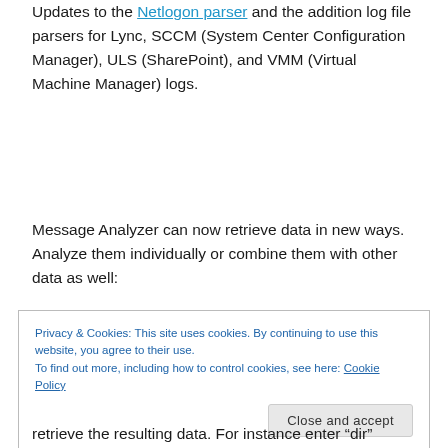Updates to the Netlogon parser and the addition log file parsers for Lync, SCCM (System Center Configuration Manager), ULS (SharePoint), and VMM (Virtual Machine Manager) logs.
Message Analyzer can now retrieve data in new ways. Analyze them individually or combine them with other data as well:
Privacy & Cookies: This site uses cookies. By continuing to use this website, you agree to their use.
To find out more, including how to control cookies, see here: Cookie Policy
retrieve the resulting data. For instance enter "dir"